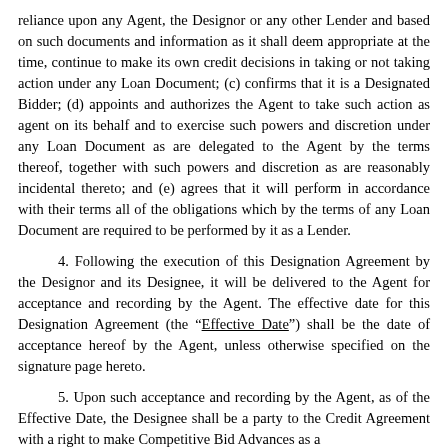reliance upon any Agent, the Designor or any other Lender and based on such documents and information as it shall deem appropriate at the time, continue to make its own credit decisions in taking or not taking action under any Loan Document; (c) confirms that it is a Designated Bidder; (d) appoints and authorizes the Agent to take such action as agent on its behalf and to exercise such powers and discretion under any Loan Document as are delegated to the Agent by the terms thereof, together with such powers and discretion as are reasonably incidental thereto; and (e) agrees that it will perform in accordance with their terms all of the obligations which by the terms of any Loan Document are required to be performed by it as a Lender.
4. Following the execution of this Designation Agreement by the Designor and its Designee, it will be delivered to the Agent for acceptance and recording by the Agent. The effective date for this Designation Agreement (the “Effective Date”) shall be the date of acceptance hereof by the Agent, unless otherwise specified on the signature page hereto.
5. Upon such acceptance and recording by the Agent, as of the Effective Date, the Designee shall be a party to the Credit Agreement with a right to make Competitive Bid Advances as a
Lender pursuant to Section 2.03 of the Credit Agreement and the rights and obligations of a Lender related thereto.
6. This Designation Agreement shall be governed by, and construed in accordance with, the laws of the State of New York.
7. This Designation Agreement may be executed in any number of